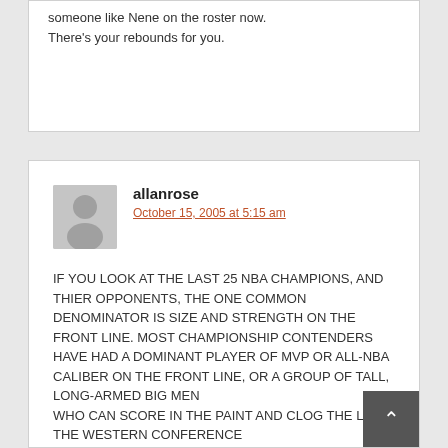someone like Nene on the roster now. There's your rebounds for you.
allanrose
October 15, 2005 at 5:15 am
IF YOU LOOK AT THE LAST 25 NBA CHAMPIONS, AND THIER OPPONENTS, THE ONE COMMON DENOMINATOR IS SIZE AND STRENGTH ON THE FRONT LINE. MOST CHAMPIONSHIP CONTENDERS HAVE HAD A DOMINANT PLAYER OF MVP OR ALL-NBA CALIBER ON THE FRONT LINE, OR A GROUP OF TALL, LONG-ARMED BIG MEN WHO CAN SCORE IN THE PAINT AND CLOG THE LANE. THE WESTERN CONFERENCE